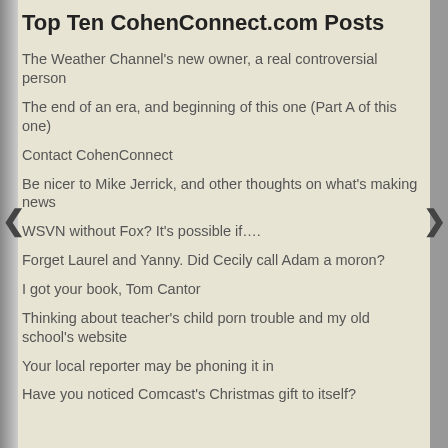Top Ten CohenConnect.com Posts
The Weather Channel's new owner, a real controversial person
The end of an era, and beginning of this one (Part A of this one)
Contact CohenConnect
Be nicer to Mike Jerrick, and other thoughts on what's making news
WSVN without Fox? It's possible if….
Forget Laurel and Yanny. Did Cecily call Adam a moron?
I got your book, Tom Cantor
Thinking about teacher's child porn trouble and my old school's website
Your local reporter may be phoning it in
Have you noticed Comcast's Christmas gift to itself?